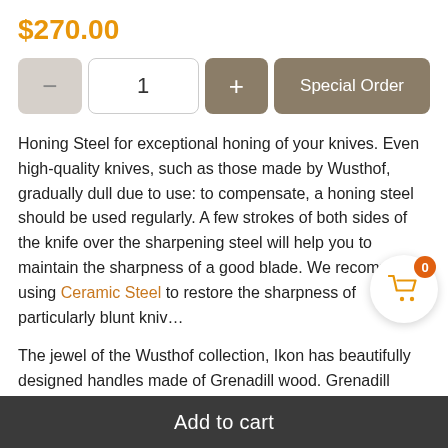$270.00
[Figure (other): Quantity selector with minus button, quantity field showing 1, plus button, and Special Order button]
Honing Steel for exceptional honing of your knives. Even high-quality knives, such as those made by Wusthof, gradually dull due to use: to compensate, a honing steel should be used regularly. A few strokes of both sides of the knife over the sharpening steel will help you to maintain the sharpness of a good blade. We recommend using Ceramic Steel to restore the sharpness of particularly blunt knives.
The jewel of the Wusthof collection, Ikon has beautifully designed handles made of Grenadill wood. Grenadill wood, or African Blackwood, is one of the hardest and heaviest woods in the world. Ikon full-tang knives are precision-forged from a single piece of an exclusive high-carbon stainless steel and feature a distinctive, double bolster.
Add to cart